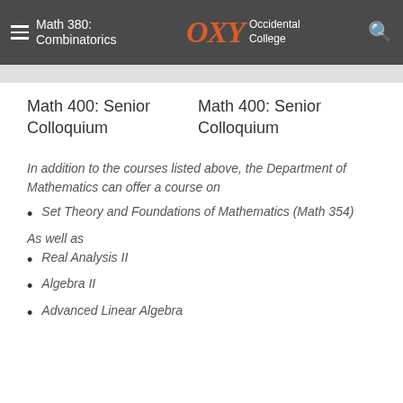Math 380: Combinatorics — OXY Occidental College
Math 400: Senior Colloquium
Math 400: Senior Colloquium
In addition to the courses listed above, the Department of Mathematics can offer a course on
Set Theory and Foundations of Mathematics (Math 354)
As well as
Real Analysis II
Algebra II
Advanced Linear Algebra